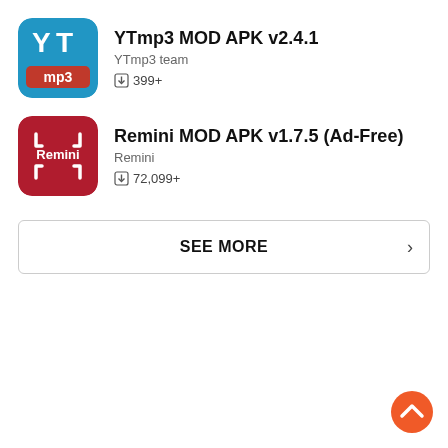[Figure (logo): YTmp3 app icon — blue rounded square with white YT letters and mp3 text]
YTmp3 MOD APK v2.4.1
YTmp3 team
⬇ 399+
[Figure (logo): Remini app icon — dark red rounded square with white bracket frame and Remini text]
Remini MOD APK v1.7.5 (Ad-Free)
Remini
⬇ 72,099+
SEE MORE